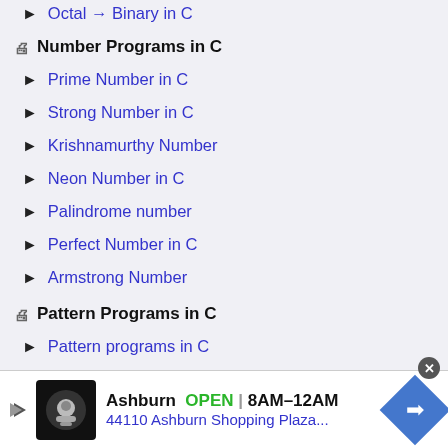Number Programs in C
Prime Number in C
Strong Number in C
Krishnamurthy Number
Neon Number in C
Palindrome number
Perfect Number in C
Armstrong Number
Pattern Programs in C
Pattern programs in C
Printing pattern using loops
Floyd's triangle Program
[Figure (infographic): Advertisement banner: Ashburn OPEN 8AM-12AM, 44110 Ashburn Shopping Plaza...]